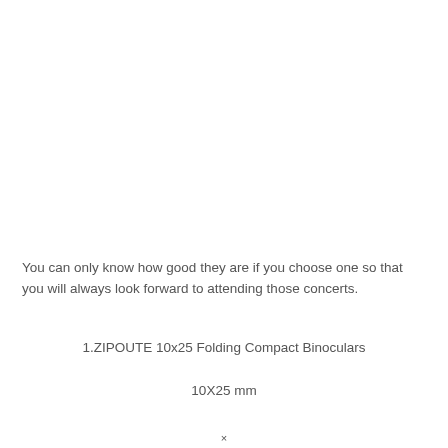You can only know how good they are if you choose one so that you will always look forward to attending those concerts.
1.ZIPOUTE 10x25 Folding Compact Binoculars
10X25 mm